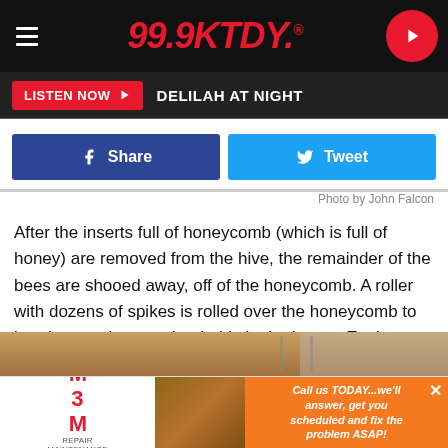[Figure (screenshot): 99.9 KTDY radio station website header with logo and play button]
[Figure (screenshot): Listen Now button bar with DELILAH AT NIGHT text]
[Figure (screenshot): Facebook Share and Twitter Tweet social media buttons]
Photo by John Falcon
After the inserts full of honeycomb (which is full of honey) are removed from the hive, the remainder of the bees are shooed away, off of the honeycomb. A roller with dozens of spikes is rolled over the honeycomb to break open the wax that holds in the honey. Each one of those inserts can hold between 7 and 8 pounds of honey!
[Figure (photo): Partial photo of honeycomb extraction process at bottom of page]
[Figure (screenshot): M3M Repair Maintenance Renovation advertisement banner at bottom]